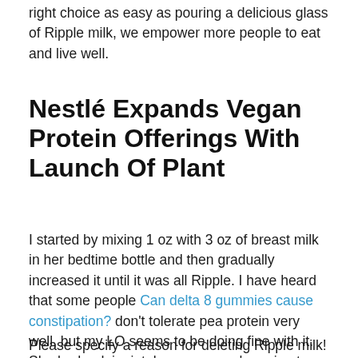right choice as easy as pouring a delicious glass of Ripple milk, we empower more people to eat and live well.
Nestlé Expands Vegan Protein Offerings With Launch Of Plant
I started by mixing 1 oz with 3 oz of breast milk in her bedtime bottle and then gradually increased it until it was all Ripple. I have heard that some people Can delta 8 gummies cause constipation? don't tolerate pea protein very well, but my LO seems to be doing fine with it. She had a dairy intolerance so we're going to stick with it for now.
Please specify a reason for deleting Ripple milk!